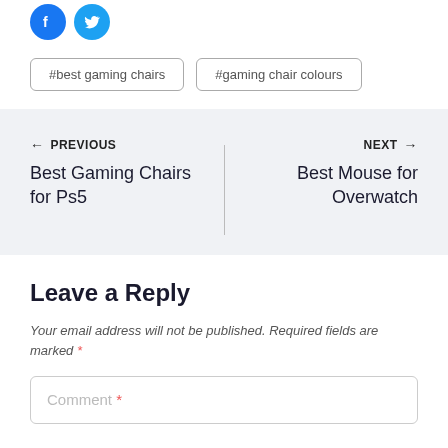[Figure (logo): Facebook and Twitter social share icon buttons]
#best gaming chairs
#gaming chair colours
← PREVIOUS
Best Gaming Chairs for Ps5
NEXT →
Best Mouse for Overwatch
Leave a Reply
Your email address will not be published. Required fields are marked *
Comment *